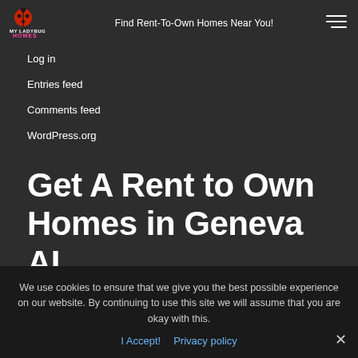Find Rent-To-Own Homes Near You!
Log in
Entries feed
Comments feed
WordPress.org
Get A Rent to Own Homes in Geneva AL
We use cookies to ensure that we give you the best possible experience on our website. By continuing to use this site we will assume that you are okay with this.
I Accept!   Privacy policy